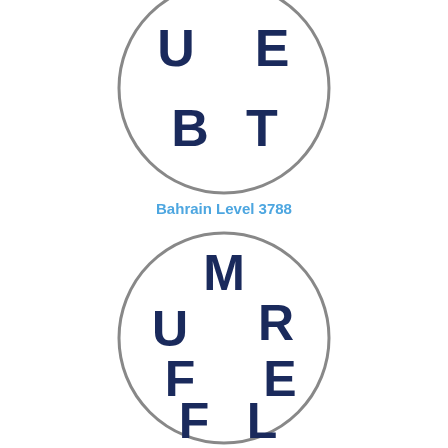[Figure (illustration): Circle puzzle with letters U, E, B, T arranged inside (Bahrain Level 3788), partially cropped at top]
Bahrain Level 3788
[Figure (illustration): Circle puzzle with letters M, U, R, F, E, F, L arranged inside (Bahrain Level 3789)]
Bahrain Level 3789
[Figure (illustration): Circle puzzle with letters R, E, E, P, S arranged inside (partially cropped at bottom)]